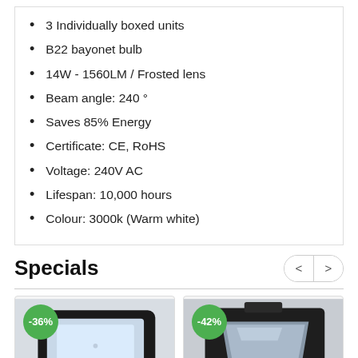3 Individually boxed units
B22 bayonet bulb
14W - 1560LM / Frosted lens
Beam angle: 240 °
Saves 85% Energy
Certificate: CE, RoHS
Voltage: 240V AC
Lifespan: 10,000 hours
Colour: 3000k (Warm white)
Specials
[Figure (photo): LED floodlight product image with -36% discount badge]
[Figure (photo): LED floodlight product image with -42% discount badge]